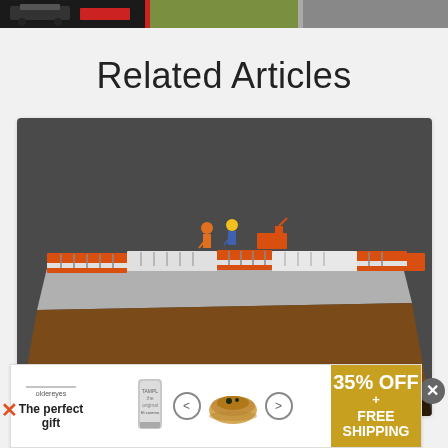[Figure (photo): A strip of small train/model photos at the very top of the page, partially cropped]
Related Articles
[Figure (photo): Photo of a miniature model train platform/loading dock on a wooden block, with tiny figurines of workers, orange and white train cars, set on a dark background]
News
[Figure (other): Advertisement banner: 'The perfect gift' with food/cookware images, arrows, and '35% OFF + FREE SHIPPING' in golden box]